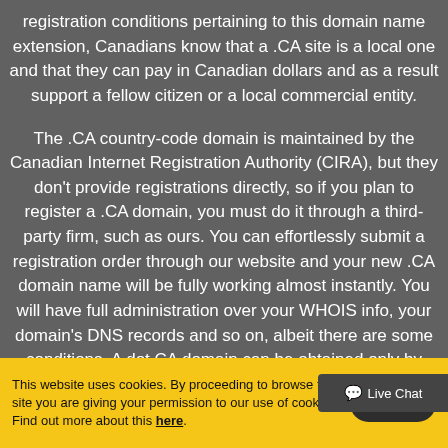registration conditions pertaining to this domain name extension, Canadians know that a .CA site is a local one and that they can pay in Canadian dollars and as a result support a fellow citizen or a local commercial entity.
The .CA country-code domain is maintained by the Canadian Internet Registration Authority (CIRA), but they don't provide registrations directly, so if you plan to register a .CA domain, you must do it through a third-party firm, such as ours. You can effortlessly submit a registration order through our website and your new .CA domain name will be fully working almost instantly. You will have full administration over your WHOIS info, your domain's DNS records and so on, albeit there are some conditions. A dot CA domain can be obtained only by Canadian residents, citizens and locally based enterprises.
This website uses cookies. By proceeding to browse this site you are giving your permission to our use of cookies. Find out more about this here.